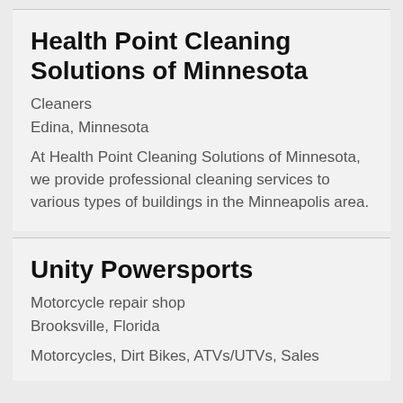Health Point Cleaning Solutions of Minnesota
Cleaners
Edina, Minnesota
At Health Point Cleaning Solutions of Minnesota, we provide professional cleaning services to various types of buildings in the Minneapolis area.
Unity Powersports
Motorcycle repair shop
Brooksville, Florida
Motorcycles, Dirt Bikes, ATVs/UTVs, Sales